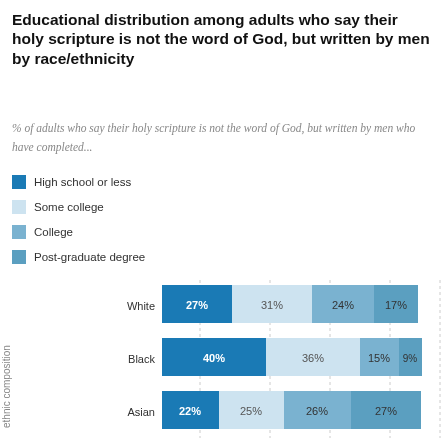Educational distribution among adults who say their holy scripture is not the word of God, but written by men by race/ethnicity
% of adults who say their holy scripture is not the word of God, but written by men who have completed...
High school or less
Some college
College
Post-graduate degree
[Figure (stacked-bar-chart): Educational distribution among adults who say their holy scripture is not the word of God, but written by men by race/ethnicity]